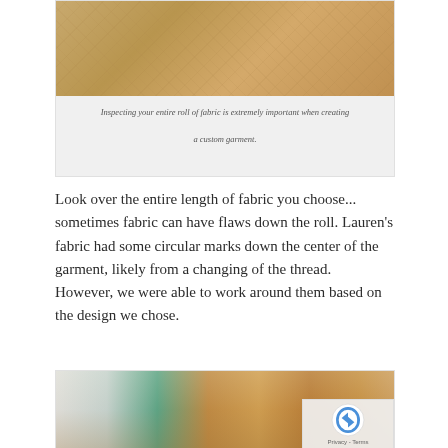[Figure (photo): Close-up photo of tan/golden brown fabric showing texture and surface]
Inspecting your entire roll of fabric is extremely important when creating a custom garment.
Look over the entire length of fabric you choose... sometimes fabric can have flaws down the roll. Lauren’s fabric had some circular marks down the center of the garment, likely from a changing of the thread. However, we were able to work around them based on the design we chose.
[Figure (photo): Photo showing fabric laid out on a cutting mat with grid paper, fabric pieces visible including orange/gold silk fabric being worked on]